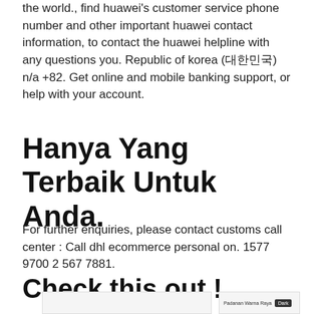the world., find huawei's customer service phone number and other important huawei contact information, to contact the huawei helpline with any questions you. Republic of korea (대한민국) n/a +82. Get online and mobile banking support, or help with your account.
Hanya Yang Terbaik Untuk Anda.
For further enquiries, please contact customs call center : Call dhl ecommerce personal on. 1577 9700 2 567 7881.
Check this out !
[Figure (screenshot): Partial screenshot showing 'Padanan Warna Raya' label and a dark button at the bottom of the page]